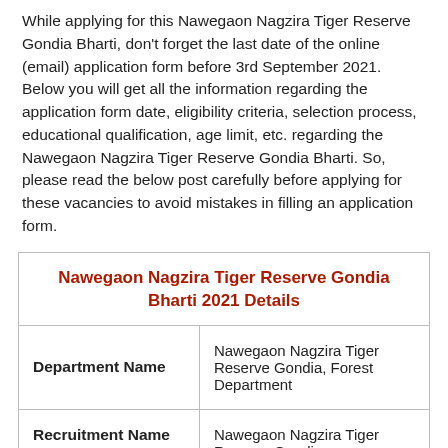While applying for this Nawegaon Nagzira Tiger Reserve Gondia Bharti, don't forget the last date of the online (email) application form before 3rd September 2021. Below you will get all the information regarding the application form date, eligibility criteria, selection process, educational qualification, age limit, etc. regarding the Nawegaon Nagzira Tiger Reserve Gondia Bharti. So, please read the below post carefully before applying for these vacancies to avoid mistakes in filling an application form.
|  |  |
| --- | --- |
| Nawegaon Nagzira Tiger Reserve Gondia Bharti 2021 Details |  |
| Department Name | Nawegaon Nagzira Tiger Reserve Gondia, Forest Department |
| Recruitment Name | Nawegaon Nagzira Tiger Reserve Gondia |